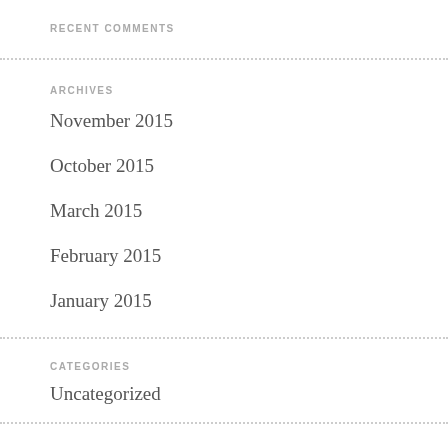RECENT COMMENTS
ARCHIVES
November 2015
October 2015
March 2015
February 2015
January 2015
CATEGORIES
Uncategorized
META
Register